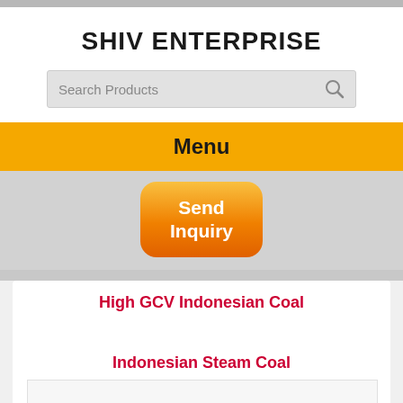SHIV ENTERPRISE
[Figure (screenshot): Search Products input box with magnifying glass icon]
Menu
[Figure (other): Send Inquiry button with orange gradient rounded rectangle]
High GCV Indonesian Coal
Indonesian Steam Coal
[Figure (photo): Photo of coal/rock material]